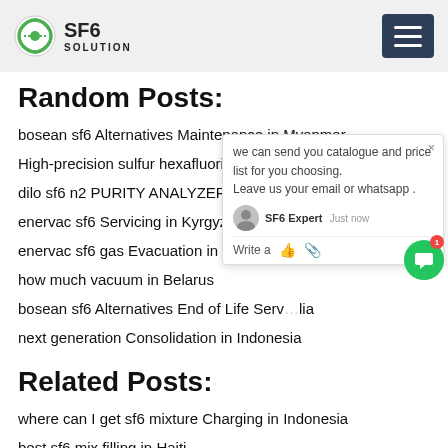SF6 SOLUTION
Random Posts:
bosean sf6 Alternatives Maintenance in Myanmar
High-precision sulfur hexafluoride valves...
dilo sf6 n2 PURITY ANALYZER in Bolivi...
enervac sf6 Servicing in Kyrgyzstan
enervac sf6 gas Evacuation in New Zea...
how much vacuum in Belarus
bosean sf6 Alternatives End of Life Serv...lia
next generation Consolidation in Indonesia
Related Posts:
where can I get sf6 mixture Charging in Indonesia
best sf6 mix filling in Haiti
wika Insulated gas recycling in Morocco